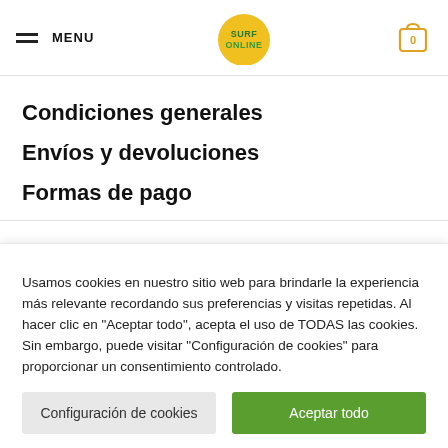MENU | SURF ONLINE | 0
Condiciones generales
Envíos y devoluciones
Formas de pago
Usamos cookies en nuestro sitio web para brindarle la experiencia más relevante recordando sus preferencias y visitas repetidas. Al hacer clic en "Aceptar todo", acepta el uso de TODAS las cookies. Sin embargo, puede visitar "Configuración de cookies" para proporcionar un consentimiento controlado.
Configuración de cookies | Aceptar todo